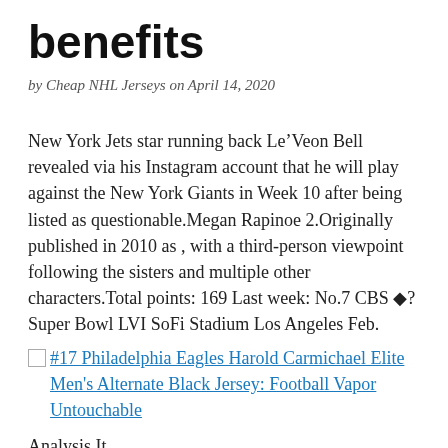benefits
by Cheap NHL Jerseys on April 14, 2020
New York Jets star running back Le’Veon Bell revealed via his Instagram account that he will play against the New York Giants in Week 10 after being listed as questionable.Megan Rapinoe 2.Originally published in 2010 as , with a third-person viewpoint following the sisters and multiple other characters.Total points: 169 Last week: No.7 CBS �?Super Bowl LVI SoFi Stadium Los Angeles Feb.
#17 Philadelphia Eagles Harold Carmichael Elite Men's Alternate Black Jersey: Football Vapor Untouchable
Analysis It